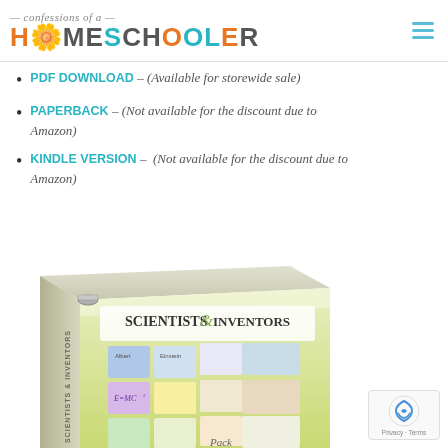confessions of a HOMESCHOOLER
PDF DOWNLOAD – (Available for storewide sale)
PAPERBACK – (Not available for the discount due to Amazon)
KINDLE VERSION – (Not available for the discount due to Amazon)
[Figure (photo): A binder/book product titled 'Scientists & Inventors' showing a 3D rendered binder with curriculum pack cards on the cover, displayed at an angle.]